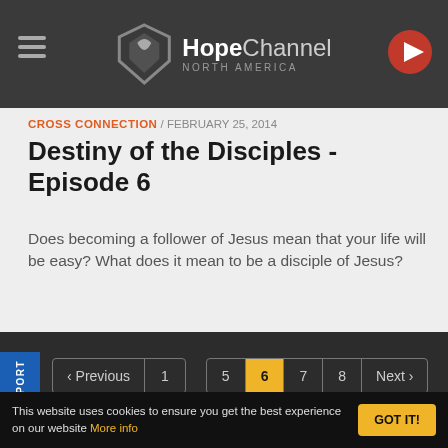HopeChannel NORTH AMERICA
CROSS CONNECTION / FEBRUARY 25, 2014
Destiny of the Disciples - Episode 6
Does becoming a follower of Jesus mean that your life will be easy? What does it mean to be a disciple of Jesus?
« Previous 1 ... 5 6 7 8 Next »
EXPLORE
INFORMATION
This website uses cookies to ensure you get the best experience on our website More info GOT IT!